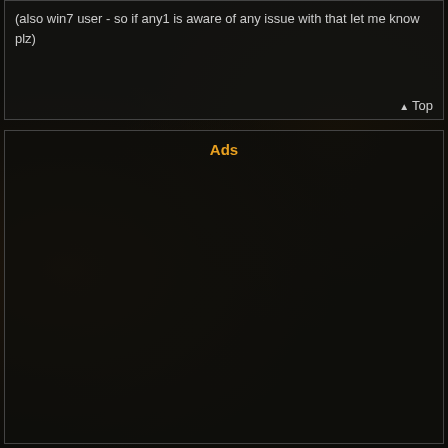(also win7 user - so if any1 is aware of any issue with that let me know plz)
▲ Top
Ads